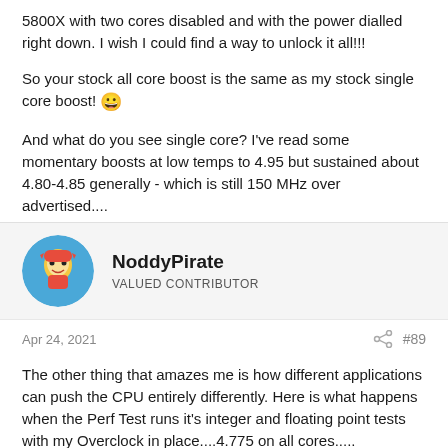5800X with two cores disabled and with the power dialled right down. I wish I could find a way to unlock it all!!!
So your stock all core boost is the same as my stock single core boost! 😀
And what do you see single core? I've read some momentary boosts at low temps to 4.95 but sustained about 4.80-4.85 generally - which is still 150 MHz over advertised....
NoddyPirate
VALUED CONTRIBUTOR
Apr 24, 2021
#89
The other thing that amazes me is how different applications can push the CPU entirely differently. Here is what happens when the Perf Test runs it's integer and floating point tests with my Overclock in place....4.775 on all cores.....
[Figure (screenshot): Screenshot of a CPU performance monitoring application showing CPU-related data]